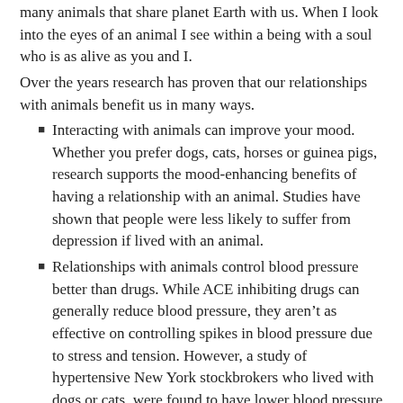many animals that share planet Earth with us. When I look into the eyes of an animal I see within a being with a soul who is as alive as you and I.
Over the years research has proven that our relationships with animals benefit us in many ways.
Interacting with animals can improve your mood. Whether you prefer dogs, cats, horses or guinea pigs, research supports the mood-enhancing benefits of having a relationship with an animal. Studies have shown that people were less likely to suffer from depression if lived with an animal.
Relationships with animals control blood pressure better than drugs. While ACE inhibiting drugs can generally reduce blood pressure, they aren't as effective on controlling spikes in blood pressure due to stress and tension. However, a study of hypertensive New York stockbrokers who lived with dogs or cats, were found to have lower blood pressure and heart rates than those who didn't.
Relationships with animals off blood lipp...